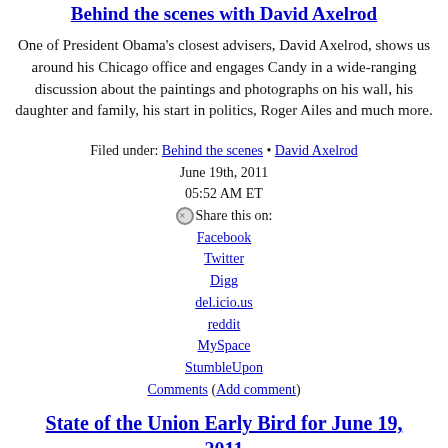Behind the scenes with David Axelrod
One of President Obama's closest advisers, David Axelrod, shows us around his Chicago office and engages Candy in a wide-ranging discussion about the paintings and photographs on his wall, his daughter and family, his start in politics, Roger Ailes and much more.
Filed under: Behind the scenes • David Axelrod
June 19th, 2011
05:52 AM ET
⊗Share this on:
Facebook
Twitter
Digg
del.icio.us
reddit
MySpace
StumbleUpon
Comments (Add comment)
State of the Union Early Bird for June 19, 2011